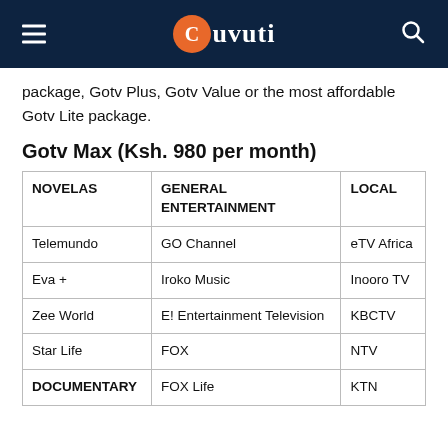Cuvuti
package, Gotv Plus, Gotv Value or the most affordable Gotv Lite package.
Gotv Max (Ksh. 980 per month)
| NOVELAS | GENERAL ENTERTAINMENT | LOCAL |
| --- | --- | --- |
| Telemundo | GO Channel | eTV Africa |
| Eva + | Iroko Music | Inooro TV |
| Zee World | E! Entertainment Television | KBCTV |
| Star Life | FOX | NTV |
| DOCUMENTARY | FOX Life | KTN |